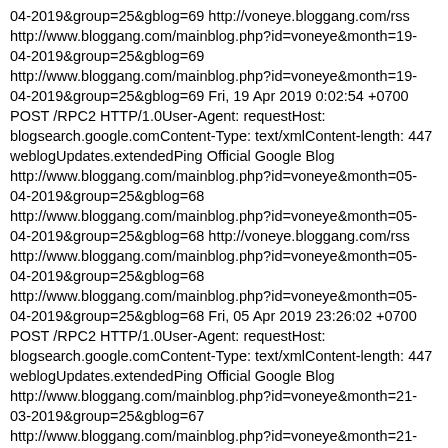04-2019&group=25&gblog=69 http://voneye.bloggang.com/rss http://www.bloggang.com/mainblog.php?id=voneye&month=19-04-2019&group=25&gblog=69 http://www.bloggang.com/mainblog.php?id=voneye&month=19-04-2019&group=25&gblog=69 Fri, 19 Apr 2019 0:02:54 +0700 POST /RPC2 HTTP/1.0User-Agent: requestHost: blogsearch.google.comContent-Type: text/xmlContent-length: 447 weblogUpdates.extendedPing Official Google Blog http://www.bloggang.com/mainblog.php?id=voneye&month=05-04-2019&group=25&gblog=68 http://www.bloggang.com/mainblog.php?id=voneye&month=05-04-2019&group=25&gblog=68 http://voneye.bloggang.com/rss http://www.bloggang.com/mainblog.php?id=voneye&month=05-04-2019&group=25&gblog=68 http://www.bloggang.com/mainblog.php?id=voneye&month=05-04-2019&group=25&gblog=68 Fri, 05 Apr 2019 23:26:02 +0700 POST /RPC2 HTTP/1.0User-Agent: requestHost: blogsearch.google.comContent-Type: text/xmlContent-length: 447 weblogUpdates.extendedPing Official Google Blog http://www.bloggang.com/mainblog.php?id=voneye&month=21-03-2019&group=25&gblog=67 http://www.bloggang.com/mainblog.php?id=voneye&month=21-03-2019&group=25&gblog=67 http://voneye.bloggang.com/rss http://www.bloggang.com/mainblog.php?id=voneye&month=21-03-2019&group=25&gblog=67 http://www.bloggang.com/mainblog.php?id=voneye&month=21-03-2019&group=25&gblog=67 http://www.bloggang.com/mainblog.php?id=voneye&month=21-